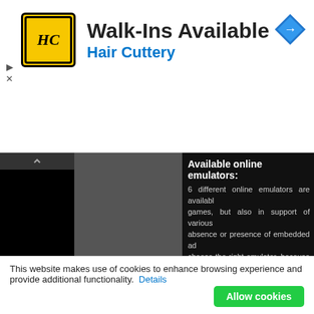[Figure (screenshot): Hair Cuttery advertisement banner with logo, title 'Walk-Ins Available', subtitle 'Hair Cuttery', navigation diamond icon, and ad controls]
Available online emulators: 6 different online emulators are available for games, but also in support of various absence or presence of embedded ad choose the right emulator, because on The basic features of each emulator ava
| Emulator | Technology |
| --- | --- |
| NeptunJS | JavaScript |
| NesBox | Flash |
| RetroGames.cc | JavaScript |
| EmulatorJS | JavaScript |
| vNES | Java applet |
| Emulatrix | JavaScript |
This website makes use of cookies to enhance browsing experience and provide additional functionality. Details
[Figure (screenshot): Allow cookies button (green)]